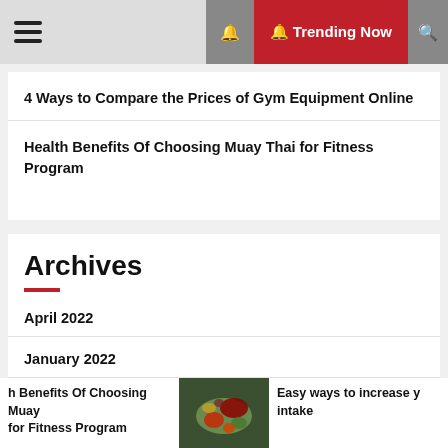☰  🔔 Trending Now 🔍
4 Ways to Compare the Prices of Gym Equipment Online
Health Benefits Of Choosing Muay Thai for Fitness Program
Archives
April 2022
January 2022
December 2021
h Benefits Of Choosing Muay for Fitness Program  [image]  Easy ways to increase y intake